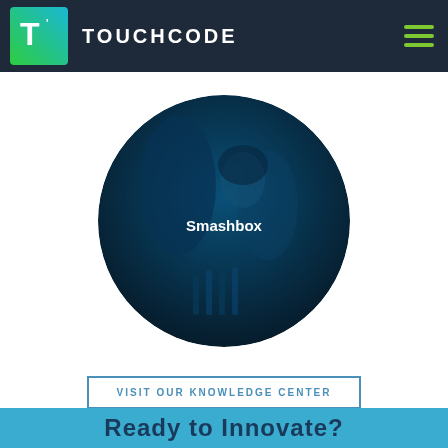TOUCHCODE
[Figure (photo): Circular cropped photo of a young woman in a dark blue-tinted setting with makeup brushes, overlaid with dark blue tint. Label 'Smashbox' appears in the center of the circle.]
Smashbox
VISIT OUR KNOWLEDGE CENTER
Ready to Innovate?